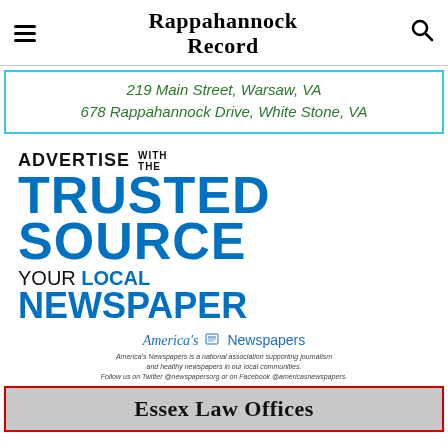Rappahannock Record
[Figure (infographic): Advertisement banner with cyan border showing two addresses: 219 Main Street, Warsaw, VA and 678 Rappahannock Drive, White Stone, VA in green italic text]
[Figure (infographic): Advertise with the Trusted Source - Your Local Newspaper. America's Newspapers association advertisement. Large blue bold text reading TRUSTED SOURCE NEWSPAPER with black text ADVERTISE WITH THE and YOUR LOCAL above each blue section.]
[Figure (infographic): Essex Law Offices banner with red border at bottom of page, text partially visible]